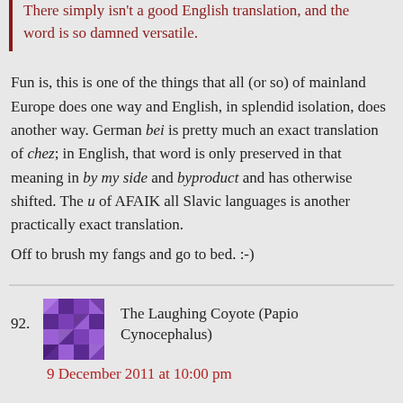There simply isn't a good English translation, and the word is so damned versatile.
Fun is, this is one of the things that all (or so) of mainland Europe does one way and English, in splendid isolation, does another way. German bei is pretty much an exact translation of chez; in English, that word is only preserved in that meaning in by my side and byproduct and has otherwise shifted. The u of AFAIK all Slavic languages is another practically exact translation.
Off to brush my fangs and go to bed. :-)
92. The Laughing Coyote (Papio Cynocephalus)
9 December 2011 at 10:00 pm